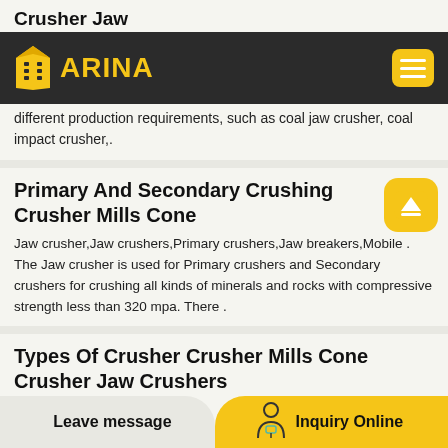Crusher Jaw
[Figure (logo): ARINA company logo with stylized building icon on dark background, with hamburger menu button on right]
different production requirements, such as coal jaw crusher, coal impact crusher,.
Primary And Secondary Crushing Crusher Mills Cone
Jaw crusher,Jaw crushers,Primary crushers,Jaw breakers,Mobile . The Jaw crusher is used for Primary crushers and Secondary crushers for crushing all kinds of minerals and rocks with compressive strength less than 320 mpa. There .
Types Of Crusher Crusher Mills Cone Crusher Jaw Crushers
Leave message
Inquiry Online